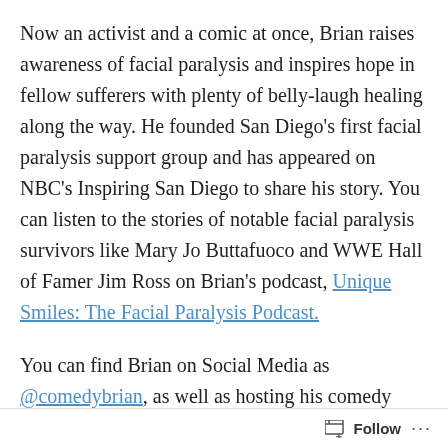Now an activist and a comic at once, Brian raises awareness of facial paralysis and inspires hope in fellow sufferers with plenty of belly-laugh healing along the way. He founded San Diego's first facial paralysis support group and has appeared on NBC's Inspiring San Diego to share his story. You can listen to the stories of notable facial paralysis survivors like Mary Jo Buttafuoco and WWE Hall of Famer Jim Ross on Brian's podcast, Unique Smiles: The Facial Paralysis Podcast.
You can find Brian on Social Media as @comedybrian, as well as hosting his comedy podcast: Uncommon Comedy, available where
Follow ...